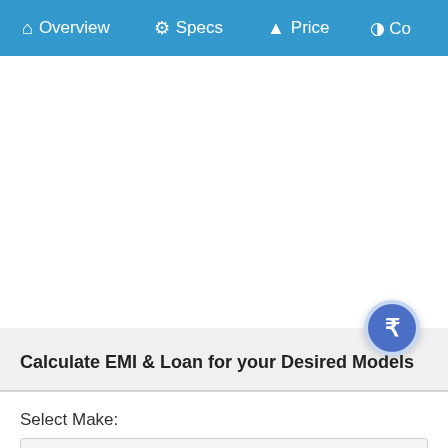Overview   Specs   Price   Co
Calculate EMI & Loan for your Desired Models
Select Make: